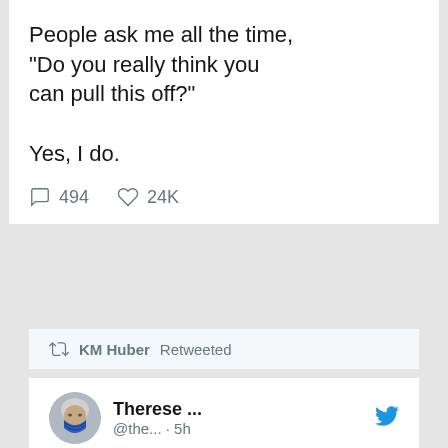People ask me all the time, "Do you really think you can pull this off?"

Yes, I do.
494 replies  24K likes
KM Huber Retweeted
[Figure (photo): Profile photo of Therese, a person wearing a blue mask with gray/white hair]
Therese ... @the... · 5h
Replying to @POTUS
Thank you, #PresidentBiden! We stand with you and appreciate your leadership and integrity. It's important to bring fairness back and level the playing field. For too long now the rich have been dictating the terms of